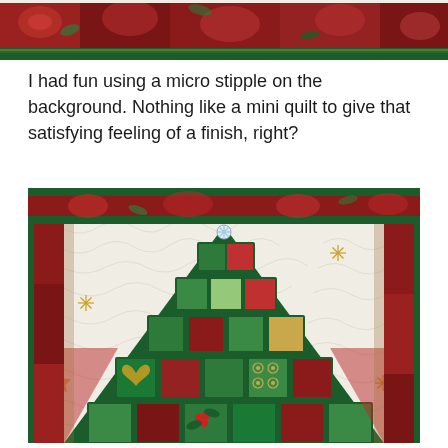[Figure (photo): Close-up top strip of a Christmas quilt with red poinsettia fabrics and green accents]
I had fun using a micro stipple on the background. Nothing like a mini quilt to give that satisfying feeling of a finish, right?
[Figure (photo): Close-up of a Christmas tree shaped mini quilt with patchwork squares in green, red, and holiday prints, with gold star quilting motifs on a white stippled background and a snowflake charm at the top]